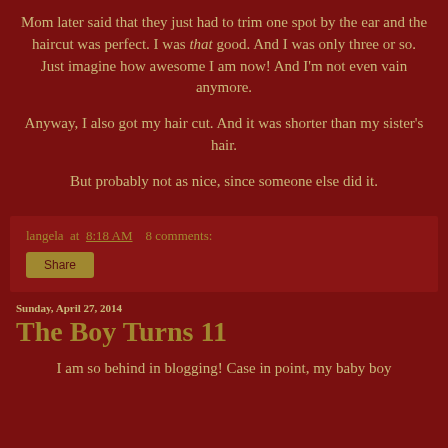Mom later said that they just had to trim one spot by the ear and the haircut was perfect. I was that good. And I was only three or so. Just imagine how awesome I am now! And I'm not even vain anymore.
Anyway, I also got my hair cut. And it was shorter than my sister's hair.
But probably not as nice, since someone else did it.
langela at 8:18 AM   8 comments:
Share
Sunday, April 27, 2014
The Boy Turns 11
I am so behind in blogging! Case in point, my baby boy